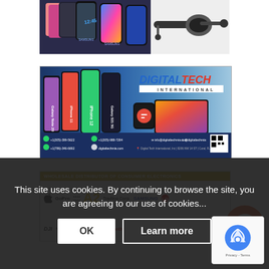[Figure (photo): Product images showing smartphones and a Bluetooth headset/earphone]
[Figure (photo): Digital Tech International advertisement banner showing smartphones (Galaxy Note 20, iPhone 11, iPhone 12, Galaxy S21 5G), a smartwatch, a laptop, and contact information. Logo reads DIGITAL TECH INTERNATIONAL. Phone: +1(305)-399-5622, +1(305)-988-7294, +1(786)-346-6692, info@digitaltechmia.com, @digitaltechmia, digitaltechmia.com. Address: Digital Tech International, Inc | 8206 NW 14 ST | Coral, FL 33126]
[Figure (photo): Wholesale Distributor of Consumer Electronics advertisement showing brands: Apple, GoPro, A2 Trading Corp., Samsung, LG, DJI, fitbit, Motorola, Kingston, SanDisk, Sony, Nikon]
This site uses cookies. By continuing to browse the site, you are agreeing to our use of cookies...
OK
Learn more